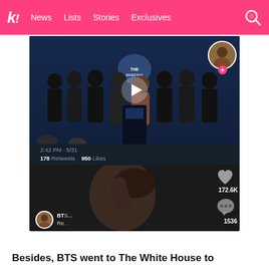k! News Lists Stories Exclusives
[Figure (screenshot): Screenshot of a TikTok video overlaid on a Twitter post. The Twitter portion shows BTS (7 members in black suits) at the White House briefing room podium with a press secretary, time stamp 2:42 PM · 5/31, 178 Retweets, 950 Likes. The TikTok portion overlays a reaction video of a person covering their face, with TikTok UI showing 172.6K likes and 1536 comments, a profile avatar with a plus button, and a BTS user account at the bottom.]
Besides, BTS went to The White House to